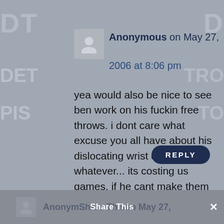[Figure (screenshot): Screenshot of a blog/forum comment section showing an anonymous user comment on May 27, 2006 at 8:06 pm with a reply button, overlaid on a Detroit Pistons logo background. A bottom bar shows a partial next comment and a 'Share This' overlay.]
Anonymous on May 27, 2006 at 8:06 pm
yea would also be nice to see ben work on his fuckin free throws. i dont care what excuse you all have about his dislocating wrist or whatever... its costing us games. if he cant make them he cant play.
REPLY
Anonymous on May 27,
Share This